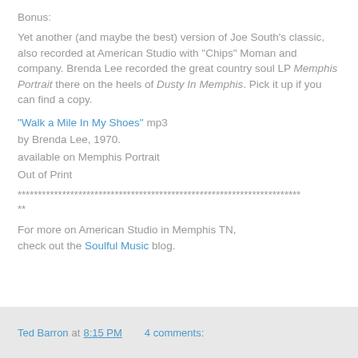Bonus:
Yet another (and maybe the best) version of Joe South's classic, also recorded at American Studio with "Chips" Moman and company. Brenda Lee recorded the great country soul LP Memphis Portrait there on the heels of Dusty In Memphis. Pick it up if you can find a copy.
"Walk a Mile In My Shoes" mp3
by Brenda Lee, 1970.
available on Memphis Portrait
Out of Print
**********************************************************************
**
For more on American Studio in Memphis TN, check out the Soulful Music blog.
Ted Barron at 8:15 PM   4 comments: